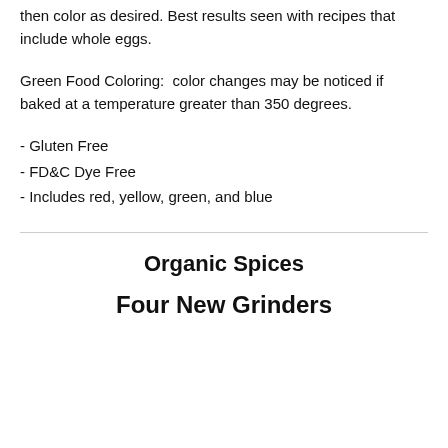then color as desired. Best results seen with recipes that include whole eggs.
Green Food Coloring: color changes may be noticed if baked at a temperature greater than 350 degrees.
- Gluten Free
- FD&C Dye Free
- Includes red, yellow, green, and blue
Organic Spices
Four New Grinders